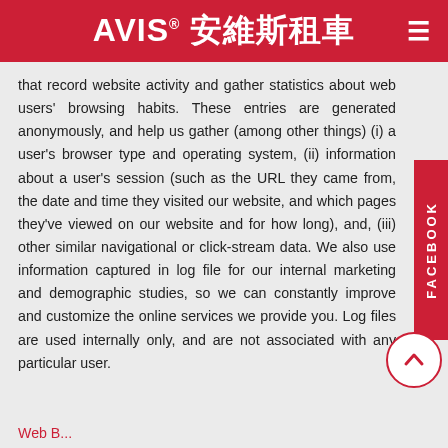AVIS 安維斯租車
that record website activity and gather statistics about web users' browsing habits. These entries are generated anonymously, and help us gather (among other things) (i) a user's browser type and operating system, (ii) information about a user's session (such as the URL they came from, the date and time they visited our website, and which pages they've viewed on our website and for how long), and, (iii) other similar navigational or click-stream data. We also use information captured in log file for our internal marketing and demographic studies, so we can constantly improve and customize the online services we provide you. Log files are used internally only, and are not associated with any particular user.
Web B...